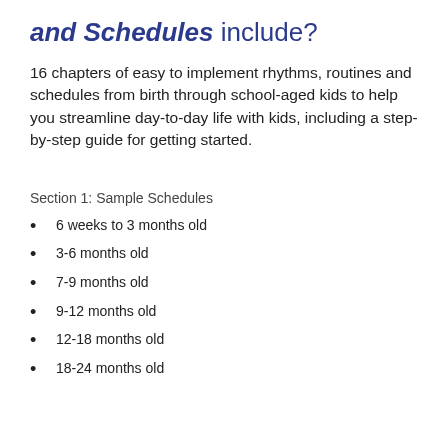and Schedules include?
16 chapters of easy to implement rhythms, routines and schedules from birth through school-aged kids to help you streamline day-to-day life with kids, including a step-by-step guide for getting started.
Section 1: Sample Schedules
6 weeks to 3 months old
3-6 months old
7-9 months old
9-12 months old
12-18 months old
18-24 months old